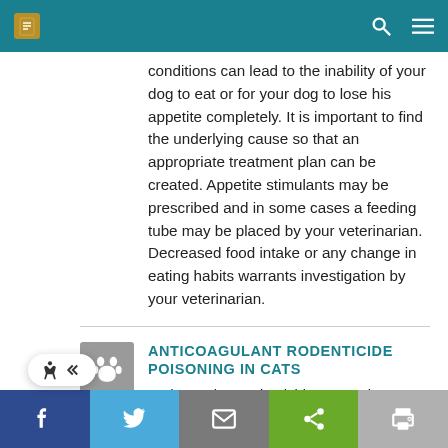conditions can lead to the inability of your dog to eat or for your dog to lose his appetite completely. It is important to find the underlying cause so that an appropriate treatment plan can be created. Appetite stimulants may be prescribed and in some cases a feeding tube may be placed by your veterinarian. Decreased food intake or any change in eating habits warrants investigation by your veterinarian.
ANTICOAGULANT RODENTICIDE POISONING IN CATS
Anticoagulant rodenticides are poisons used to kill mice, rats, and other rodents by preventing blood clotting. Poisoning occurs when a cat ingests rodenticide.